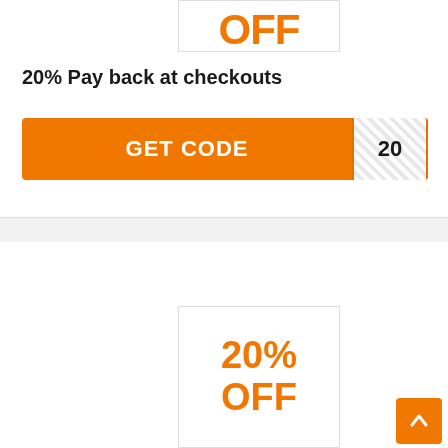[Figure (other): Coupon image showing orange 'OFF' text partially visible at top]
20% Pay back at checkouts
GET CODE  20
[Figure (other): Coupon image showing '20% OFF' in orange text]
[Figure (other): Orange scroll-to-top button with upward arrow]